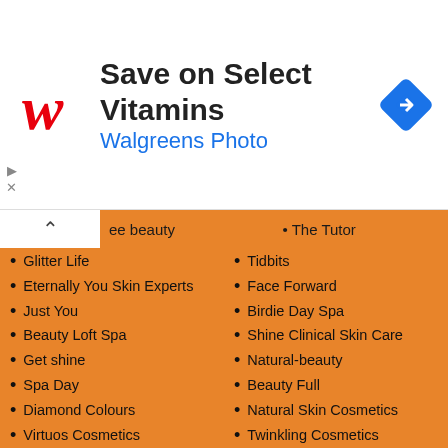[Figure (screenshot): Walgreens advertisement banner: red cursive W logo, text 'Save on Select Vitamins' in bold dark, 'Walgreens Photo' in blue, blue diamond navigation icon on right, ad controls (triangle and X) on left]
Glitter Life
Eternally You Skin Experts
Just You
Beauty Loft Spa
Get shine
Spa Day
Diamond Colours
Virtuos Cosmetics
Stunning Chic
You glamour
Life-stream Wellness Spa
Guiding Haute Heaven Guru
Genesis
Level Esthetician
Sassy
The Tutor
Tidbits
Face Forward
Birdie Day Spa
Shine Clinical Skin Care
Natural-beauty
Beauty Full
Natural Skin Cosmetics
Twinkling Cosmetics
Deluxe Spa
Enviro Esthetician
Proven Beauty
Vibiola
New Concept Beauty
Wallmora Esthetician
Moose